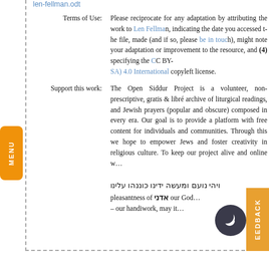len-fellman.odt
Terms of Use: Please reciprocate for any adaptation by attributing the work to Len Fellman, indicating the date you accessed the file, made (and if so, please be in touch), might note your adaptation or improvement to the resource, and (4) specifying the CC BY-SA) 4.0 International copyleft license.
Support this work: The Open Siddur Project is a volunteer, non-prescriptive, gratis & libre archive of liturgical readings, and Jewish prayers (popular and obscure) composed in every era. Our goal is to provide a platform with free content for individuals and communities. Through this we hope to empower Jews and foster creativity in religious culture. To keep our project alive and online...
ויהי נועם אדני אלהינו עלינו ומעשה ידינו כוננהו pleasantness of אדני our God — our handiwork, may it...